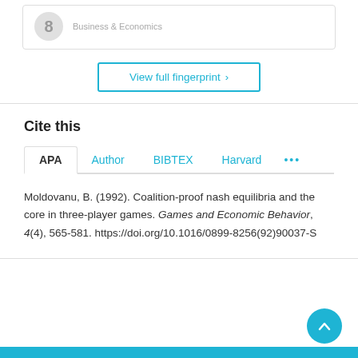Business & Economics
View full fingerprint ›
Cite this
APA  Author  BIBTEX  Harvard  •••
Moldovanu, B. (1992). Coalition-proof nash equilibria and the core in three-player games. Games and Economic Behavior, 4(4), 565-581. https://doi.org/10.1016/0899-8256(92)90037-S